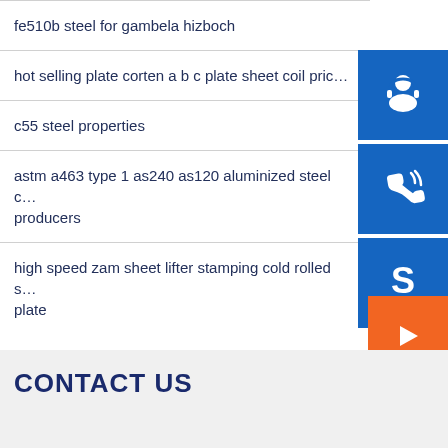fe510b steel for gambela hizboch
hot selling plate corten a b c plate sheet coil pric…
c55 steel properties
astm a463 type 1 as240 as120 aluminized steel c… producers
high speed zam sheet lifter stamping cold rolled s… plate
[Figure (infographic): Three blue square buttons with white icons: headset/support icon, phone with signal waves icon, Skype logo icon]
[Figure (infographic): Orange square button with white right-arrow icon]
CONTACT US